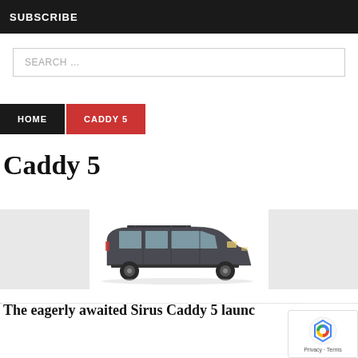SUBSCRIBE
SEARCH …
HOME  CADDY 5
Caddy 5
[Figure (photo): Side profile photo of a dark grey VW Caddy 5 van against a white background, flanked by two light grey placeholder image boxes]
The eagerly awaited Sirus Caddy 5 launc…